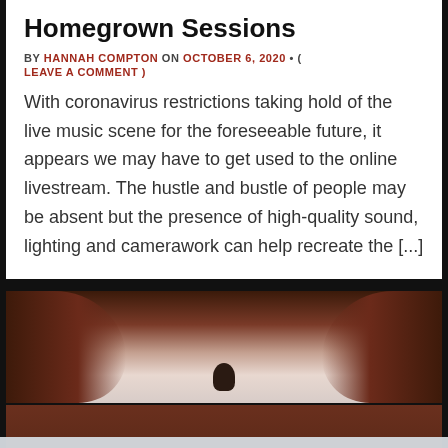Homegrown Sessions
BY HANNAH COMPTON ON OCTOBER 6, 2020 • ( LEAVE A COMMENT )
With coronavirus restrictions taking hold of the live music scene for the foreseeable future, it appears we may have to get used to the online livestream. The hustle and bustle of people may be absent but the presence of high-quality sound, lighting and camerawork can help recreate the [...]
[Figure (photo): Outdoor photo showing red rock formations flanking a person silhouetted against a pale sky]
Privacy & Cookies: This site uses cookies. By continuing to use this website, you agree to their use.
To find out more, including how to control cookies, see here: Cookie Policy
Close and accept